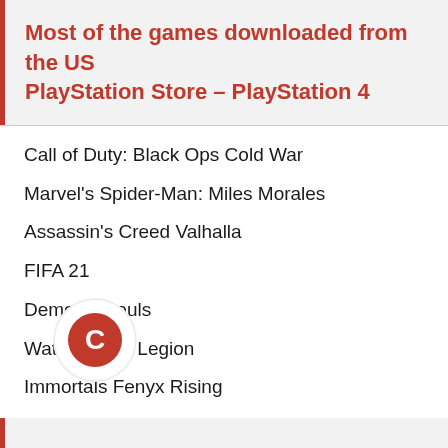Most of the games downloaded from the US PlayStation Store – PlayStation 4
Call of Duty: Black Ops Cold War
Marvel's Spider-Man: Miles Morales
Assassin's Creed Valhalla
FIFA 21
Demon's Souls
Watch Dogs: Legion
Immortals Fenyx Rising
NBA 2K21 Next Generation
Sackboy: A Big Adventure
Rainbow Six Siege